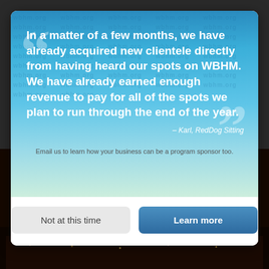In a matter of a few months, we have already acquired new clientele directly from having heard our spots on WBHM. We have already earned enough revenue to pay for all of the spots we plan to run through the end of the year.
– Karl, RedDog Sitting
Email us to learn how your business can be a program sponsor too.
Not at this time
Learn more
[Figure (photo): Night concert scene with fireworks and crowd, dark background with stage lights]